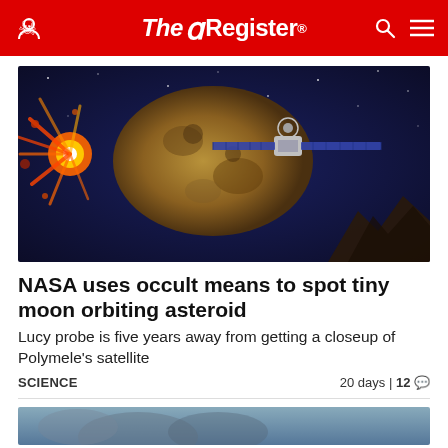The Register
[Figure (illustration): Digital illustration of NASA Lucy spacecraft orbiting near an asteroid in space, with an explosion or impact on the left side of the asteroid, solar panels visible on the spacecraft, rocky terrain in the foreground, deep blue space background.]
NASA uses occult means to spot tiny moon orbiting asteroid
Lucy probe is five years away from getting a closeup of Polymele's satellite
SCIENCE  20 days | 12 💬
[Figure (photo): Partial view of another article image at bottom of page, cropped.]